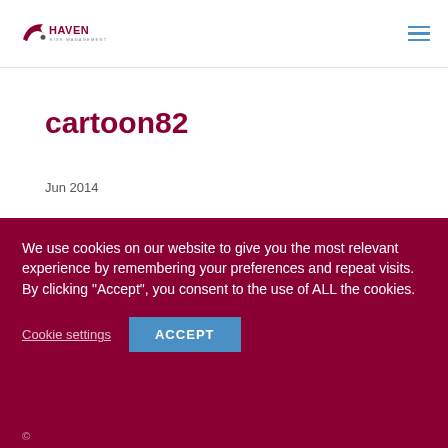Haven Risk Management
cartoon82
Jun 2014
[Figure (illustration): Partial view of a cartoon sketch illustration at the bottom of the white content area]
We use cookies on our website to give you the most relevant experience by remembering your preferences and repeat visits. By clicking “Accept”, you consent to the use of ALL the cookies.
Cookie settings   ACCEPT